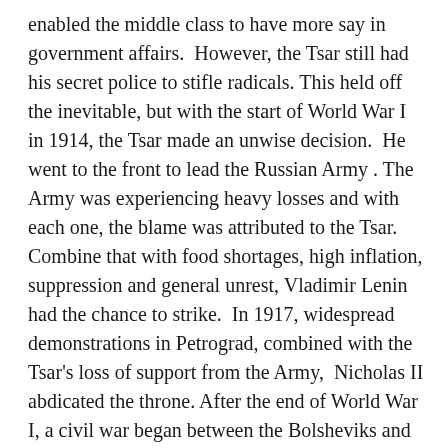enabled the middle class to have more say in government affairs.  However, the Tsar still had his secret police to stifle radicals. This held off the inevitable, but with the start of World War I in 1914, the Tsar made an unwise decision.  He went to the front to lead the Russian Army . The Army was experiencing heavy losses and with each one, the blame was attributed to the Tsar.  Combine that with food shortages, high inflation, suppression and general unrest, Vladimir Lenin had the chance to strike.  In 1917, widespread demonstrations in Petrograd, combined with the Tsar's loss of support from the Army,  Nicholas II abdicated the throne. After the end of World War I, a civil war began between the Bolsheviks and the anti-Bolsheviks. The Bolshevik's moved the royal family from place to place until Lenin gave the order to execute the whole family.